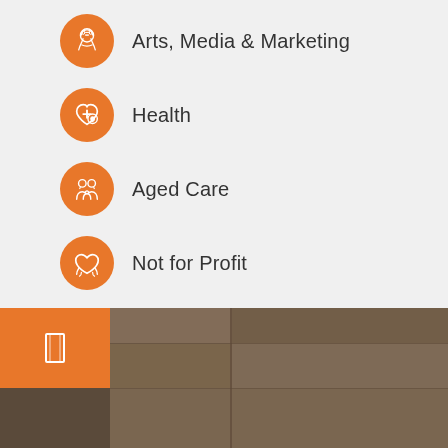Arts, Media & Marketing
Health
Aged Care
Not for Profit
Candidate Career
[Figure (photo): Brown cardboard boxes photo in the bottom section of the page with an orange square containing a bookmark icon on the left]